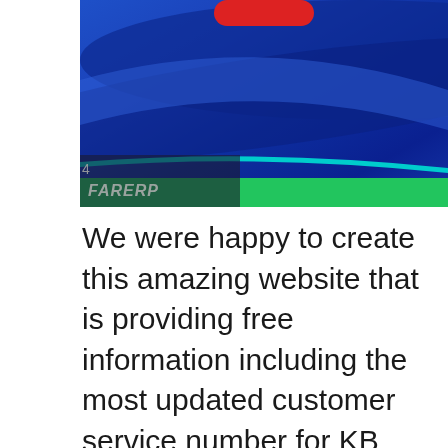[Figure (photo): Partial view of a blue neon-lit sign or display with cyan stripe, green band at the bottom, a red oval shape at top center, and partial text reading 'Farerp...' or similar in gray italic at the lower left.]
We were happy to create this amazing website that is providing free information including the most updated customer service number for KB Home and other companies. We are trying to make the information on this website to be the best and if you do find additional, new information, please share with us and help future visitors and people that are looking for customer service number for KB Home by writing on the web form below in this page.